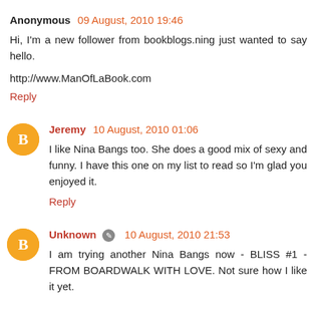Anonymous 09 August, 2010 19:46
Hi, I'm a new follower from bookblogs.ning just wanted to say hello.
http://www.ManOfLaBook.com
Reply
Jeremy 10 August, 2010 01:06
I like Nina Bangs too. She does a good mix of sexy and funny. I have this one on my list to read so I'm glad you enjoyed it.
Reply
Unknown 10 August, 2010 21:53
I am trying another Nina Bangs now - BLISS #1 - FROM BOARDWALK WITH LOVE. Not sure how I like it yet.